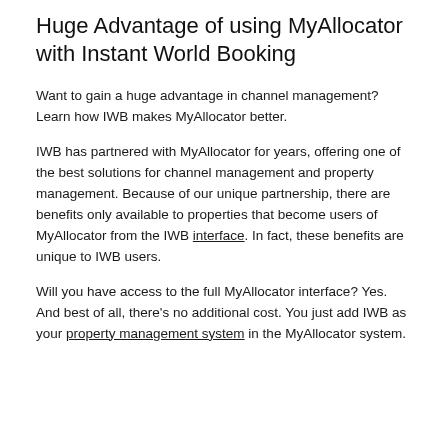Huge Advantage of using MyAllocator with Instant World Booking
Want to gain a huge advantage in channel management? Learn how IWB makes MyAllocator better.
IWB has partnered with MyAllocator for years, offering one of the best solutions for channel management and property management. Because of our unique partnership, there are benefits only available to properties that become users of MyAllocator from the IWB interface. In fact, these benefits are unique to IWB users.
Will you have access to the full MyAllocator interface? Yes. And best of all, there's no additional cost. You just add IWB as your property management system in the MyAllocator system.